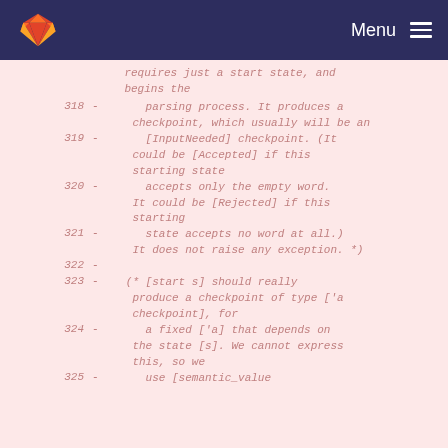Menu
requires just a start state, and begins the
318 - parsing process. It produces a checkpoint, which usually will be an
319 - [InputNeeded] checkpoint. (It could be [Accepted] if this starting state
320 - accepts only the empty word. It could be [Rejected] if this starting
321 - state accepts no word at all.) It does not raise any exception. *)
322 -
323 - (* [start s] should really produce a checkpoint of type ['a checkpoint], for
324 - a fixed ['a] that depends on the state [s]. We cannot express this, so we
325 - use [semantic_value